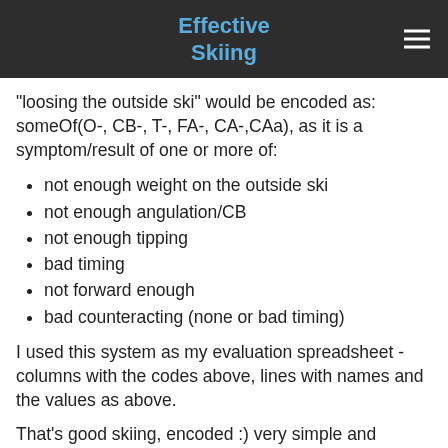Effective Skiing
"loosing the outside ski" would be encoded as: someOf(O-, CB-, T-, FA-, CA-,CAa), as it is a symptom/result of one or more of:
not enough weight on the outside ski
not enough angulation/CB
not enough tipping
bad timing
not forward enough
bad counteracting (none or bad timing)
I used this system as my evaluation spreadsheet - columns with the codes above, lines with names and the values as above.
That's good skiing, encoded :) very simple and intuitive evaluation, language, feedback - you name